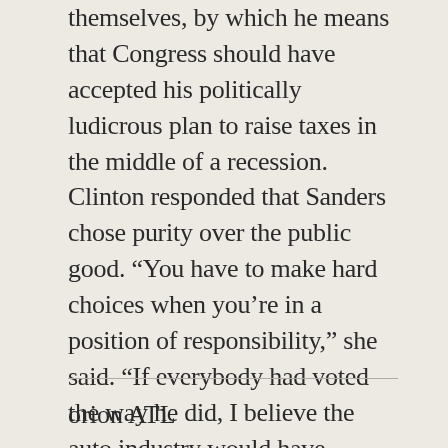themselves, by which he means that Congress should have accepted his politically ludicrous plan to raise taxes in the middle of a recession. Clinton responded that Sanders chose purity over the public good. “You have to make hard choices when you’re in a position of responsibility,” she said. “If everybody had voted the way he did, I believe the auto industry would have collapsed.” Not only the auto industry. If Congress refused to respond practically to a moment of profound national crisis, it would have made the economic panic much, much worse and ruined many more ordinary people…]
orion ATL